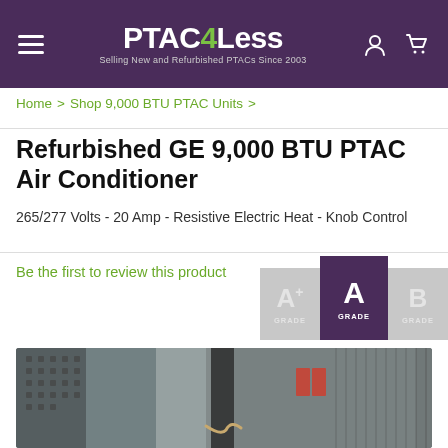PTAC4Less — Selling New and Refurbished PTACs Since 2003
Home > Shop 9,000 BTU PTAC Units >
Refurbished GE 9,000 BTU PTAC Air Conditioner
265/277 Volts - 20 Amp - Resistive Electric Heat - Knob Control
Be the first to review this product
[Figure (infographic): Grade selection badges showing A+ GRADE, A GRADE (active/selected, purple background), and B GRADE options]
[Figure (photo): Photo of refurbished PTAC air conditioner units stacked and wrapped in plastic packaging, showing internal components and red indicator tags]